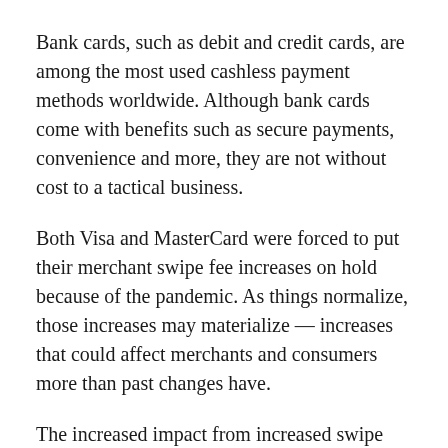Bank cards, such as debit and credit cards, are among the most used cashless payment methods worldwide. Although bank cards come with benefits such as secure payments, convenience and more, they are not without cost to a tactical business.
Both Visa and MasterCard were forced to put their merchant swipe fee increases on hold because of the pandemic. As things normalize, those increases may materialize — increases that could affect merchants and consumers more than past changes have.
The increased impact from increased swipe fees is largely due to the fact that cash customers have historically helped subsidize their cashless counterparts by reducing the total amount that merchants pay in swipe fees. With more consumers using cashless payment methods, merchants may be forced to increase prices across the board in order to